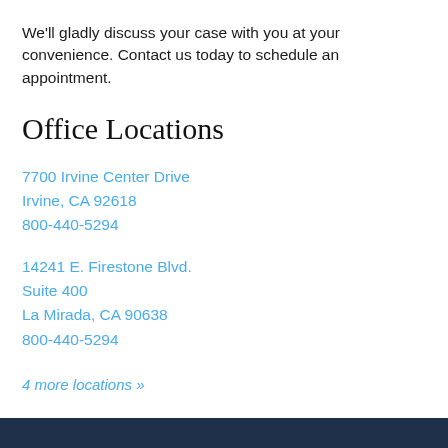We'll gladly discuss your case with you at your convenience. Contact us today to schedule an appointment.
Office Locations
7700 Irvine Center Drive
Irvine, CA 92618
800-440-5294
14241 E. Firestone Blvd.
Suite 400
La Mirada, CA 90638
800-440-5294
4 more locations »